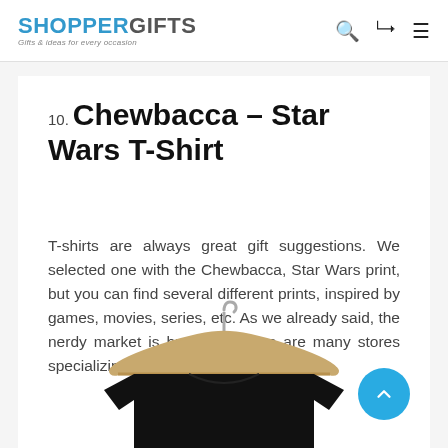SHOPPERGIFTS — Gifts & ideas for every occasion
10. Chewbacca – Star Wars T-Shirt
T-shirts are always great gift suggestions. We selected one with the Chewbacca, Star Wars print, but you can find several different prints, inspired by games, movies, series, etc. As we already said, the nerdy market is huge and there are many stores specializing in this topic.
[Figure (photo): A black t-shirt displayed on a wooden clothes hanger against a white background.]